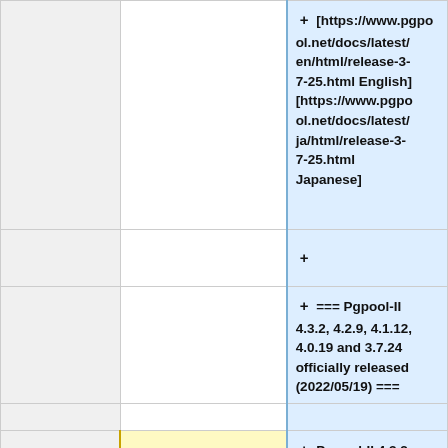|  |  | [https://www.pgpool.net/docs/latest/en/html/release-3-7-25.html English]
[https://www.pgpool.net/docs/latest/ja/html/release-3-7-25.html Japanese] |
|  |  | + |
|  |  | === Pgpool-II 4.3.2, 4.2.9, 4.1.12, 4.0.19 and 3.7.24 officially released (2022/05/19) === |
|  | == New docs == | Pgpool-II 4.3.2, 4.2.9, 4.1.12, 4.0.19 and 3.7.24 officially released. |